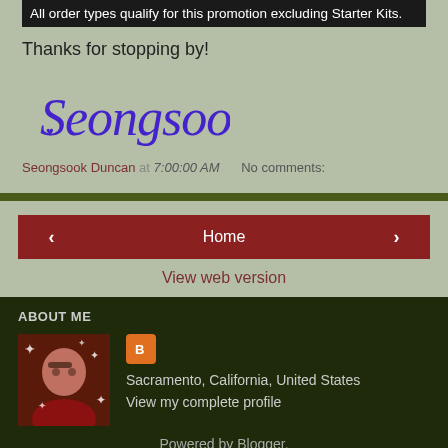All order types qualify for this promotion excluding Starter Kits.
Thanks for stopping by!
[Figure (illustration): Cursive signature reading 'Seongsook' in purple/blue ink style]
Seongsook Duncan at 7:00:00 AM   No comments:
Home
View web version
ABOUT ME
[Figure (photo): Profile photo of a woman smiling, wearing glasses and a red top, with sparkle effects]
Sacramento, California, United States
View my complete profile
Powered by Blogger.